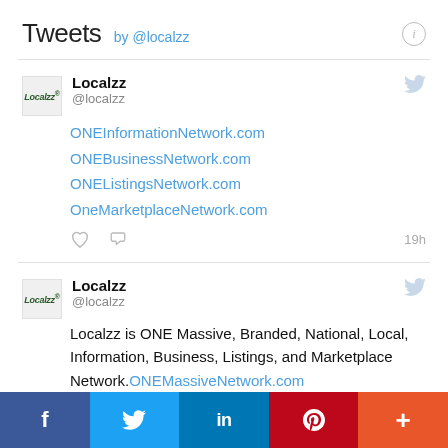Tweets by @localzz
Localzz @localzz — ONEInformationNetwork.com ONEBusinessNetwork.com ONEListingsNetwork.com OneMarketplaceNetwork.com — 19h
Localzz @localzz — Localzz is ONE Massive, Branded, National, Local, Information, Business, Listings, and Marketplace Network.ONEMassiveNetwork.com ONEBrandedNetwork.com ONENationalNetwork.com ONELocalNetwork.com